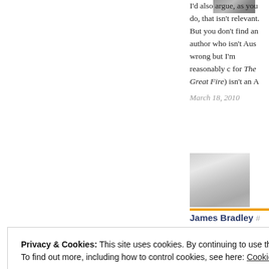[Figure (photo): Small grayscale thumbnail image at top, partially cropped]
I'd also argue, as you do, that isn't relevant. But you don't find an author who isn't Aus wrong but I'm reasonably c for The Great Fire) isn't an A
March 18, 2010
[Figure (photo): Grayscale photo showing bird tracks or footprints in sand/snow]
James Bradley #
Privacy & Cookies: This site uses cookies. By continuing to use this website, you agree to their use.
To find out more, including how to control cookies, see here: Cookie Policy
Close and accept